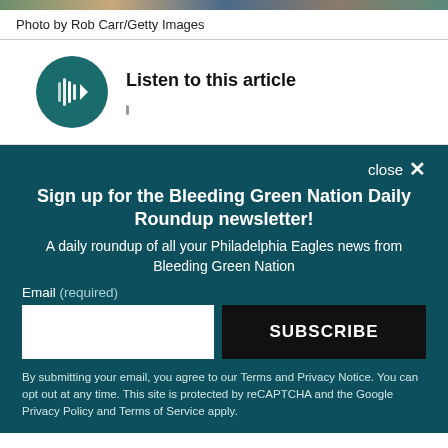[Figure (photo): Colorful image strip at top of page showing partial photo]
Photo by Rob Carr/Getty Images
[Figure (other): Audio player widget with teal play button and 'Listen to this article' label]
close ×
Sign up for the Bleeding Green Nation Daily Roundup newsletter!
A daily roundup of all your Philadelphia Eagles news from Bleeding Green Nation
Email (required)
SUBSCRIBE
By submitting your email, you agree to our Terms and Privacy Notice. You can opt out at any time. This site is protected by reCAPTCHA and the Google Privacy Policy and Terms of Service apply.